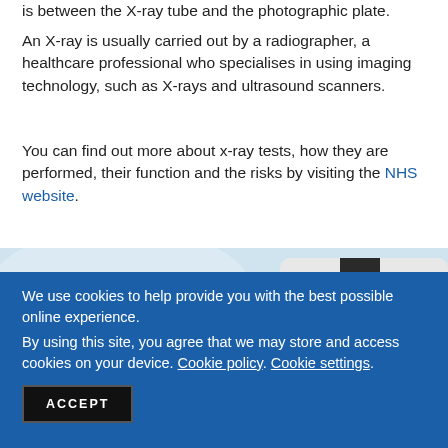is between the X-ray tube and the photographic plate.
An X-ray is usually carried out by a radiographer, a healthcare professional who specialises in using imaging technology, such as X-rays and ultrasound scanners.
You can find out more about x-ray tests, how they are performed, their function and the risks by visiting the NHS website.
[Figure (photo): Doctor or healthcare professional in white coat with stethoscope, partial view cropped]
We use cookies to help provide you with the best possible online experience.
By using this site, you agree that we may store and access cookies on your device. Cookie policy. Cookie settings.
ACCEPT